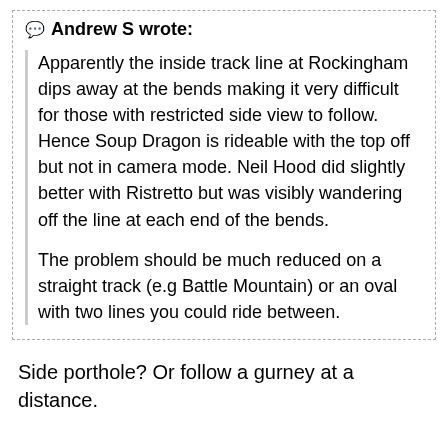Andrew S wrote:
Apparently the inside track line at Rockingham dips away at the bends making it very difficult for those with restricted side view to follow. Hence Soup Dragon is rideable with the top off but not in camera mode. Neil Hood did slightly better with Ristretto but was visibly wandering off the line at each end of the bends.
The problem should be much reduced on a straight track (e.g Battle Mountain) or an oval with two lines you could ride between.
Side porthole? Or follow a gurney at a distance.